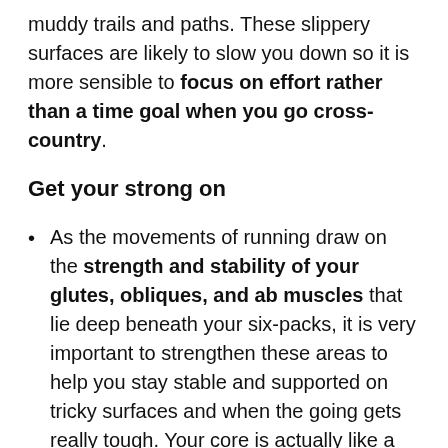muddy trails and paths. These slippery surfaces are likely to slow you down so it is more sensible to focus on effort rather than a time goal when you go cross-country.
Get your strong on
As the movements of running draw on the strength and stability of your glutes, obliques, and ab muscles that lie deep beneath your six-packs, it is very important to strengthen these areas to help you stay stable and supported on tricky surfaces and when the going gets really tough. Your core is actually like a power plant – if it's not strong, your